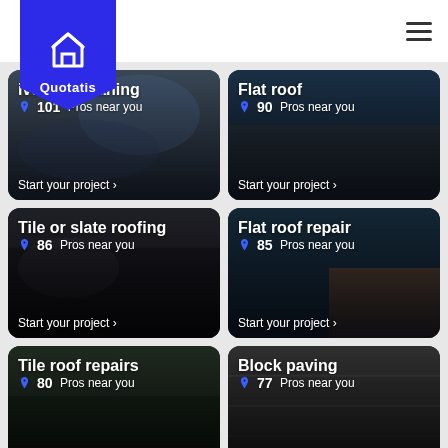Quotatis
[Figure (screenshot): Service card: Driveway cleaning, 101 Pros near you, Start your project]
[Figure (screenshot): Service card: Flat roof, 90 Pros near you, Start your project]
[Figure (screenshot): Service card: Tile or slate roofing, 86 Pros near you, Start your project]
[Figure (screenshot): Service card: Flat roof repair, 85 Pros near you, Start your project]
[Figure (screenshot): Service card: Tile roof repairs, 80 Pros near you]
[Figure (screenshot): Service card: Block paving, 77 Pros near you]